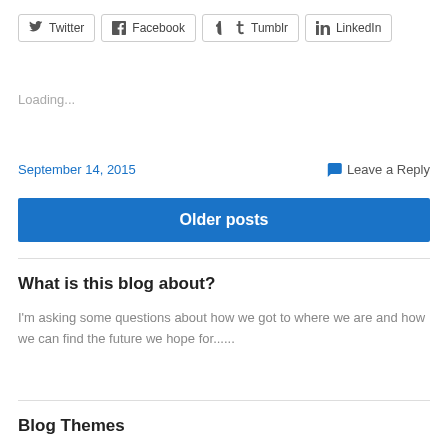Twitter  Facebook  Tumblr  LinkedIn
Loading...
September 14, 2015
Leave a Reply
Older posts
What is this blog about?
I'm asking some questions about how we got to where we are and how we can find the future we hope for......
Blog Themes